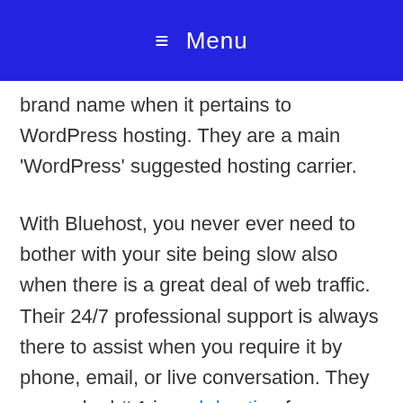☰ Menu
brand name when it pertains to WordPress hosting. They are a main 'WordPress' suggested hosting carrier.
With Bluehost, you never ever need to bother with your site being slow also when there is a great deal of web traffic. Their 24/7 professional support is always there to assist when you require it by phone, email, or live conversation. They are ranked # 1 in web hosting for